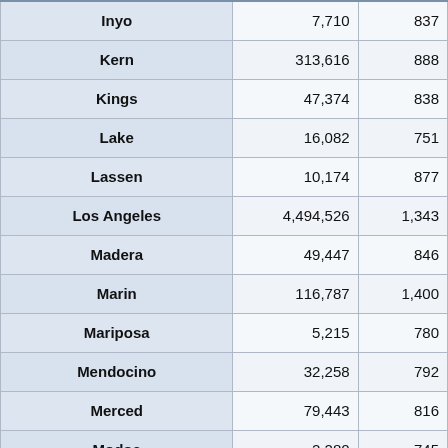| Inyo | 7,710 | 837 |
| Kern | 313,616 | 888 |
| Kings | 47,374 | 838 |
| Lake | 16,082 | 751 |
| Lassen | 10,174 | 877 |
| Los Angeles | 4,494,526 | 1,343 |
| Madera | 49,447 | 846 |
| Marin | 116,787 | 1,400 |
| Mariposa | 5,215 | 780 |
| Mendocino | 32,258 | 792 |
| Merced | 79,443 | 816 |
| Modoc | 2,280 | 745 |
| Mono | 7,638 | 749 |
| Monterey | 175,020 | 951 |
| Napa | 74,447 | 1,119 |
| Nevada | 31,760 | 919 |
| Orange | 1,621,398 | 1,234 |